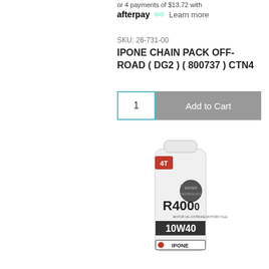or 4 payments of $13.72 with
afterpay  Learn more
SKU: 26-731-00
IPONE CHAIN PACK OFF-ROAD ( DG2 ) ( 800737 ) CTN4
1   Add to Cart
[Figure (photo): IPONE R4000 RS 10W40 4T motor oil bottle product photo]